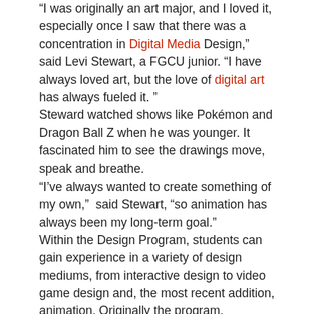“I was originally an art major, and I loved it, especially once I saw that there was a concentration in Digital Media Design,” said Levi Stewart, a FGCU junior. “I have always loved art, but the love of digital art has always fueled it. ” Steward watched shows like Pokémon and Dragon Ball Z when he was younger. It fascinated him to see the drawings move, speak and breathe. “I’ve always wanted to create something of my own,” said Stewart, “so animation has always been my long-term goal.” Within the Design Program, students can gain experience in a variety of design mediums, from interactive design to video game design and, the most recent addition, animation. Originally the program, Salmond was a one-man show dealing with the administration of the program. Eventually, Dr. Rama Karl Hoetzlein became an extension of the program, which opened the door for more courses. Hoetzlein has a background in 3D animation, which students have wanted for some time now.